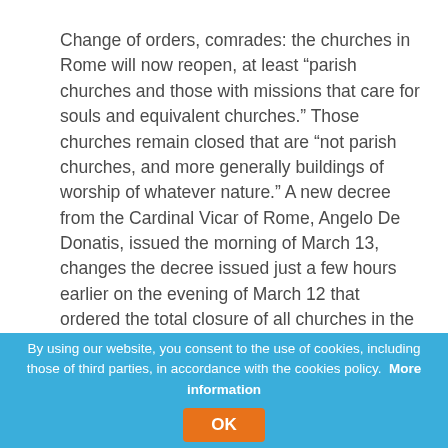Change of orders, comrades: the churches in Rome will now reopen, at least “parish churches and those with missions that care for souls and equivalent churches.” Those churches remain closed that are “not parish churches, and more generally buildings of worship of whatever nature.” A new decree from the Cardinal Vicar of Rome, Angelo De Donatis, issued the morning of March 13, changes the decree issued just a few hours earlier on the evening of March 12 that ordered the total closure of all churches in the Diocese of Rome.
The sensational decision to close the churches, without any precedent, upset
and Italy but through the world: the implication of decisions made in Rome on
By using our website, you consent to the use of cookies, including those of third parties, in accordance with the cookies policy. More information
OK